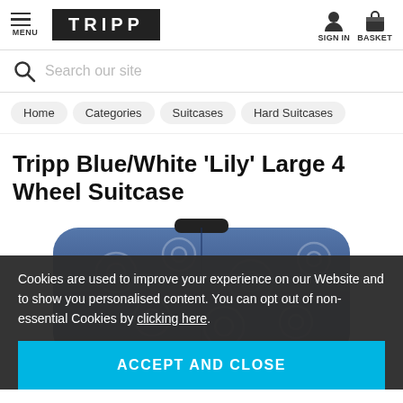MENU | TRIPP | SIGN IN | BASKET
Search our site
Home
Categories
Suitcases
Hard Suitcases
Tripp Blue/White 'Lily' Large 4 Wheel Suitcase
[Figure (photo): Blue/White Lily patterned hard suitcase, partially visible]
Cookies are used to improve your experience on our Website and to show you personalised content. You can opt out of non-essential Cookies by clicking here.
ACCEPT AND CLOSE